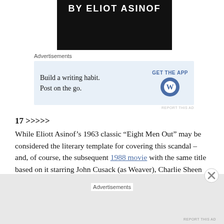[Figure (photo): Dark book cover photo showing the text 'BY ELIOT ASINOF' in white block letters on a black background.]
Advertisements
[Figure (screenshot): Advertisement banner with light blue background. Text reads: 'Build a writing habit. Post on the go.' with a 'GET THE APP' call-to-action button and WordPress logo icon on the right.]
17 >>>>>
While Eliott Asinof’s 1963 classic “Eight Men Out” may be considered the literary template for covering this scandal – and, of course, the subsequent 1988 movie with the same title based on it starring John Cusack (as Weaver), Charlie Sheen (as Hap Felsch) and D.B. Sweeney (Jackson). Even his assertion that the White Sox players were so
Advertisements